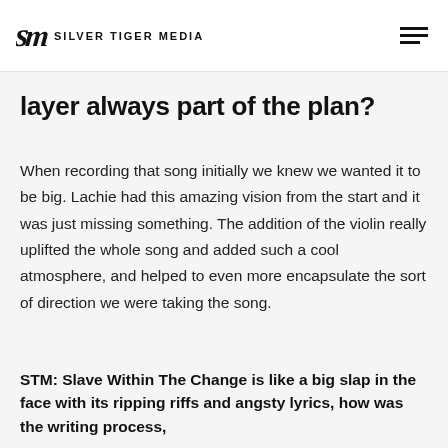Silver Tiger Media
layer always part of the plan?
When recording that song initially we knew we wanted it to be big. Lachie had this amazing vision from the start and it was just missing something. The addition of the violin really uplifted the whole song and added such a cool atmosphere, and helped to even more encapsulate the sort of direction we were taking the song.
STM:  Slave Within The Change is like a big slap in the face with its ripping riffs and angsty lyrics, how was the writing process,